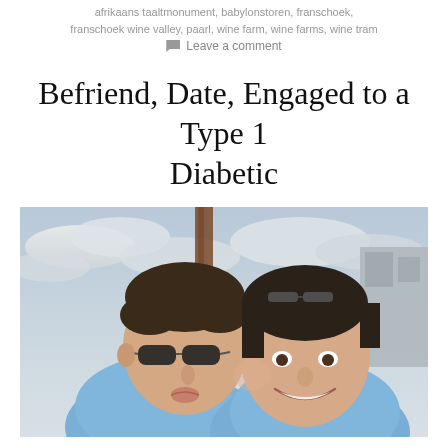afrikaans taaltmonument, babylonstoren, franschoek, franschoek wine valley, paarl, wine farm, wine farms, wine tram
Leave a comment
Befriend, Date, Engaged to a Type 1 Diabetic
[Figure (photo): A couple taking a selfie outdoors. A man wearing sunglasses is kissing a woman on the cheek. Both are wearing light blue hoodies. The background shows an overcast sky.]